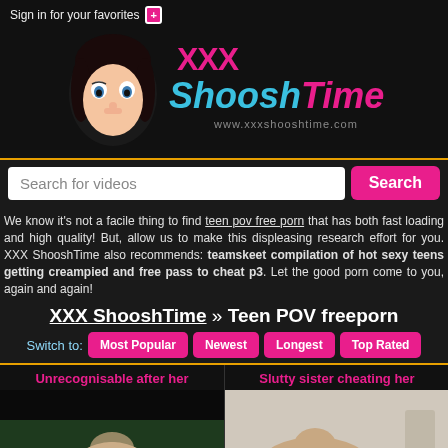Sign in for your favorites +
[Figure (logo): XXX ShooshTime logo with cartoon woman character and text 'www.xxxshooshtime.com']
Search for videos
We know it's not a facile thing to find teen pov free porn that has both fast loading and high quality! But, allow us to make this displeasing research effort for you. XXX ShooshTime also recommends: teamskeet compilation of hot sexy teens getting creampied and free pass to cheat p3. Let the good porn come to you, again and again!
XXX ShooshTime » Teen POV freeporn
Switch to: Most Popular  Newest  Longest  Top Rated
Unrecognisable after her
Slutty sister cheating her